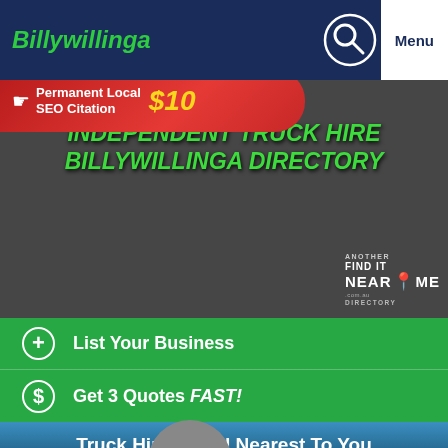Billywillinga
[Figure (infographic): Red banner advertising Permanent Local SEO Citation for $10]
INDEPENDENT TRUCK HIRE BILLYWILLINGA DIRECTORY
[Figure (logo): Another Find It Near Me .com.au Directory logo with green map pin]
+ List Your Business
$ Get 3 Quotes FAST!
Truck Hire Listed Nearest To You
142.7kms
[Figure (photo): Photo of a skid steer loader / compact track loader machine outdoors]